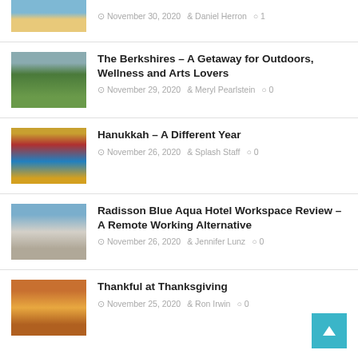[Figure (photo): Partial beach thumbnail at top]
November 30, 2020  Daniel Herron  1
[Figure (photo): Aerial view of The Berkshires landscape]
The Berkshires – A Getaway for Outdoors, Wellness and Arts Lovers
November 29, 2020  Meryl Pearlstein  0
[Figure (photo): Hanukkah decorations and drinks]
Hanukkah – A Different Year
November 26, 2020  Splash Staff  0
[Figure (photo): Person working at Radisson Blue Aqua Hotel]
Radisson Blue Aqua Hotel Workspace Review – A Remote Working Alternative
November 26, 2020  Jennifer Lunz  0
[Figure (photo): Thanksgiving harvest photo with pumpkins and fruits]
Thankful at Thanksgiving
November 25, 2020  Ron Irwin  0